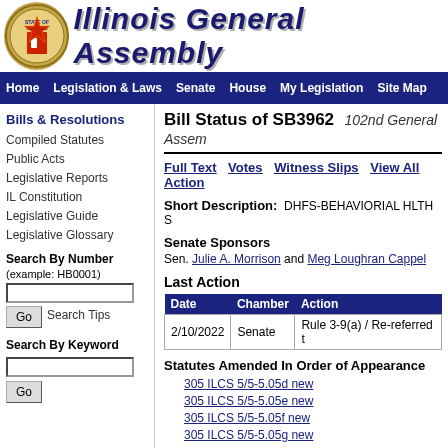Illinois General Assembly
Home | Legislation & Laws | Senate | House | My Legislation | Site Map
Bills & Resolutions
Compiled Statutes
Public Acts
Legislative Reports
IL Constitution
Legislative Guide
Legislative Glossary
Search By Number (example: HB0001)
Search By Keyword
Bill Status of SB3962  102nd General Assembly
Full Text  Votes  Witness Slips  View All Actions
Short Description: DHFS-BEHAVIORIAL HLTH S
Senate Sponsors
Sen. Julie A. Morrison and Meg Loughran Cappel
Last Action
| Date | Chamber | Action |
| --- | --- | --- |
| 2/10/2022 | Senate | Rule 3-9(a) / Re-referred t |
Statutes Amended In Order of Appearance
305 ILCS 5/5-5.05d new
305 ILCS 5/5-5.05e new
305 ILCS 5/5-5.05f new
305 ILCS 5/5-5.05g new